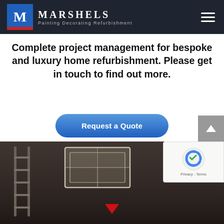[Figure (logo): Marshels logo with blue M on blue background with red bar, white text MARSHELS and tagline Painting Decorating Refurbishment on dark header with hamburger menu]
Complete project management for bespoke and luxury home refurbishment. Please get in touch to find out more.
[Figure (other): Blue rounded button labeled Request a Quote]
[Figure (photo): Interior room photo showing skylights/roof windows in a dark ceiling, with a ladder visible on the left and a red arrow marker at the bottom center]